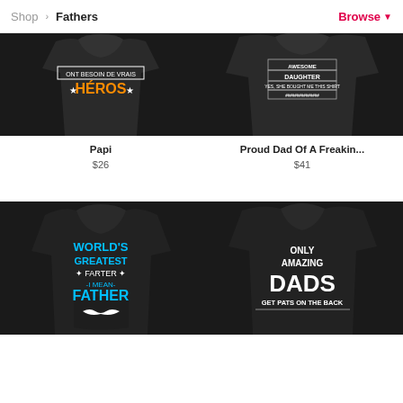Shop > Fathers | Browse ▾
[Figure (photo): Black hoodie with French text 'ONT BESOIN DE VRAIS HÉROS' in orange and white on dark background - Papi product]
[Figure (photo): Black hoodie with text 'AWESOME DAUGHTER YES, SHE BOUGHT ME THIS SHIRT' in white on dark background - Proud Dad Of A Freakin... product]
Papi
$26
Proud Dad Of A Freakin...
$41
[Figure (photo): Black hoodie with colorful blue text 'WORLD'S GREATEST FARTER I MEAN FATHER' with mustache graphic]
[Figure (photo): Black hoodie with white text 'ONLY AMAZING DADS GET PATS ON THE BACK' on back of hoodie]